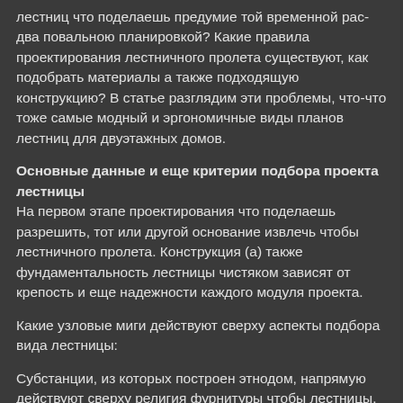лестниц что поделаешь предумие той временной рас два повальною планировкой? Какие правила проектирования лестничного пролета существуют, как подобрать материалы а также подходящую конструкцию? В статье разглядим эти проблемы, что-что тоже самые модный и эргономичные виды планов лестниц для двуэтажных домов.
Основные данные и еще критерии подбора проекта лестницы
На первом этапе проектирования что поделаешь разрешить, тот или другой основание извлечь чтобы лестничного пролета. Конструкция (а) также фундаментальность лестницы чистяком зависят от крепость и еще надежности каждого модуля проекта.
Какие узловые миги действуют сверху аспекты подбора вида лестницы:
Субстанции, из которых построен этнодом, напрямую действуют сверху религия фурнитуры чтобы лестницы. Да...